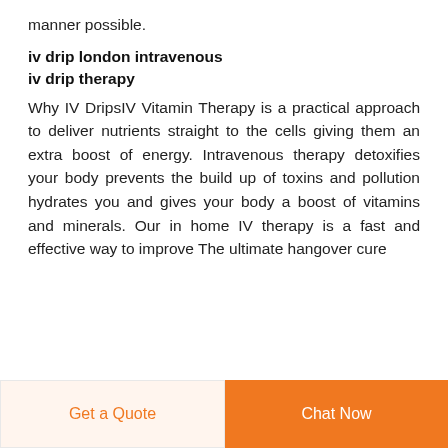manner possible.
iv drip london intravenous iv drip therapy
Why IV DripsIV Vitamin Therapy is a practical approach to deliver nutrients straight to the cells giving them an extra boost of energy. Intravenous therapy detoxifies your body prevents the build up of toxins and pollution hydrates you and gives your body a boost of vitamins and minerals. Our in home IV therapy is a fast and effective way to improve The ultimate hangover cure
Get a Quote | Chat Now